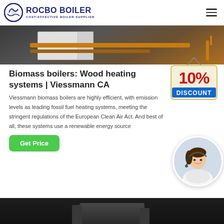ROCBO BOILER — COST-EFFECTIVE BOILER SUPPLIER
[Figure (photo): Photo of industrial boiler equipment with orange/yellow pipes against a wall in a mechanical room]
Biomass boilers: Wood heating systems | Viessmann CA
[Figure (illustration): 10% DISCOUNT badge hanging sign with red bold text on cream background]
Viessmann biomass boilers are highly efficient, with emission levels as leading fossil fuel heating systems, meeting the stringent regulations of the European Clean Air Act. And best of all, these systems use a renewable energy source
[Figure (photo): Customer support agent woman with headset smiling, in circular crop]
[Figure (photo): Dark industrial machinery photo at bottom of page]